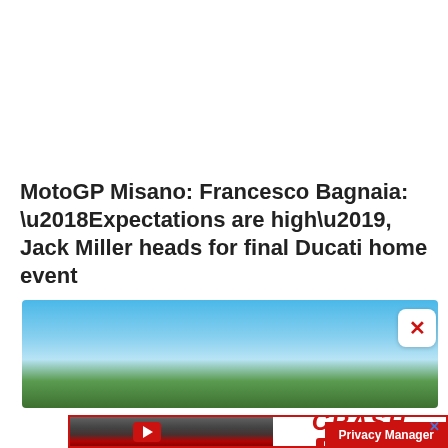MotoGP Misano: Francesco Bagnaia: ‘Expectations are high’, Jack Miller heads for final Ducati home event
[Figure (photo): Race circuit photo with blue sky and green treeline]
[Figure (photo): Advertisement featuring racing drivers (Ferrari, Red Bull, Mercedes) with CRASH YouTube branding and red border]
Privacy Manager